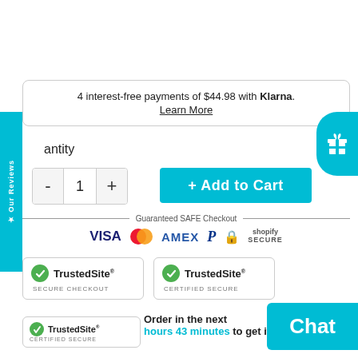4 interest-free payments of $44.98 with Klarna. Learn More
antity
[Figure (other): Quantity selector with minus button, value 1, plus button]
[Figure (other): Add to Cart button (cyan/teal)]
Guaranteed SAFE Checkout
[Figure (other): Payment icons: VISA, Mastercard, AMEX, PayPal, lock, Shopify Secure]
[Figure (other): TrustedSite SECURE CHECKOUT badge]
[Figure (other): TrustedSite CERTIFIED SECURE badge]
Order in the next hours 43 minutes to get it by Tue A
[Figure (other): TrustedSite CERTIFIED SECURE badge (small)]
[Figure (other): Chat button (cyan)]
[Figure (other): Our Reviews sidebar tab (cyan, vertical)]
[Figure (other): Gift icon tab on right side (cyan)]